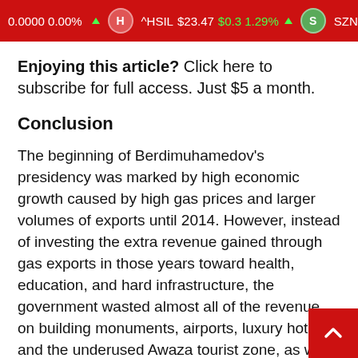0.0000 0.00% ▲  H  ^HSIL $23.47 $0.3 1.29% ▲  S  SZNTF
Enjoying this article? Click here to subscribe for full access. Just $5 a month.
Conclusion
The beginning of Berdimuhamedov's presidency was marked by high economic growth caused by high gas prices and larger volumes of exports until 2014. However, instead of investing the extra revenue gained through gas exports in those years toward health, education, and hard infrastructure, the government wasted almost all of the revenue on building monuments, airports, luxury hotels, and the underused Awaza tourist zone, as well as hosting the AIMAG. Despite high growth in the beginning, high inflation and a soaring black-market